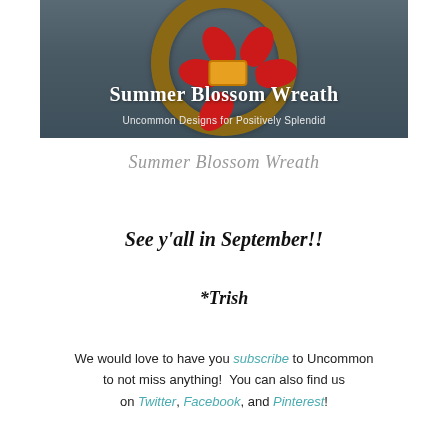[Figure (photo): A summer blossom wreath made of grapevine with red poinsettia flowers and colorful ribbon, hanging on a dark door. White text overlay reads 'Summer Blossom Wreath' and 'Uncommon Designs for Positively Splendid'.]
Summer Blossom Wreath
See y'all in September!!
*Trish
We would love to have you subscribe to Uncommon to not miss anything!  You can also find us on Twitter, Facebook, and Pinterest!